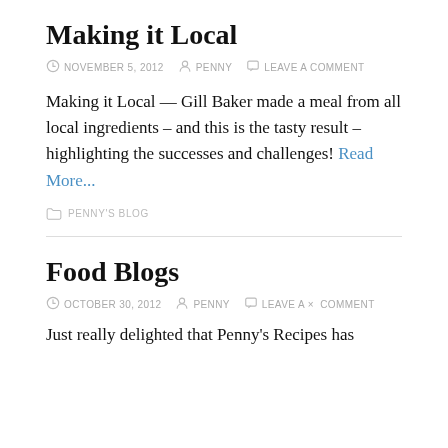Making it Local
NOVEMBER 5, 2012   PENNY   LEAVE A COMMENT
Making it Local — Gill Baker made a meal from all local ingredients – and this is the tasty result – highlighting the successes and challenges! Read More...
PENNY'S BLOG
Food Blogs
OCTOBER 30, 2012   PENNY   LEAVE A × COMMENT
Just really delighted that Penny's Recipes has